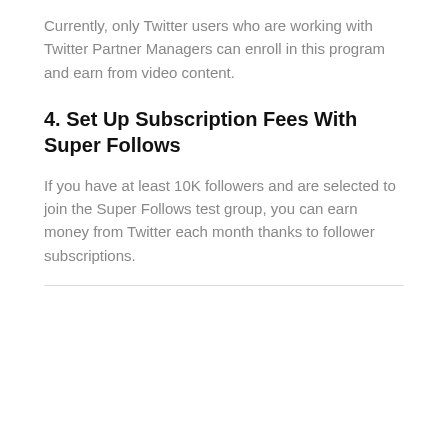Currently, only Twitter users who are working with Twitter Partner Managers can enroll in this program and earn from video content.
4. Set Up Subscription Fees With Super Follows
If you have at least 10K followers and are selected to join the Super Follows test group, you can earn money from Twitter each month thanks to follower subscriptions.